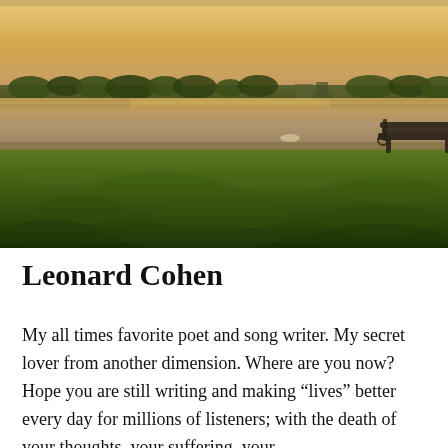[Figure (photo): A peaceful outdoor scene at dusk or dawn showing a grassy waterfront area. A lone park bench sits near the water's edge. The calm water reflects the warm orange-yellow sky. Trees and buildings are visible on the far shore.]
Leonard Cohen
My all times favorite poet and song writer. My secret lover from another dimension. Where are you now? Hope you are still writing and making “lives” better every day for millions of listeners; with the death of your thoughts, your suffering, your